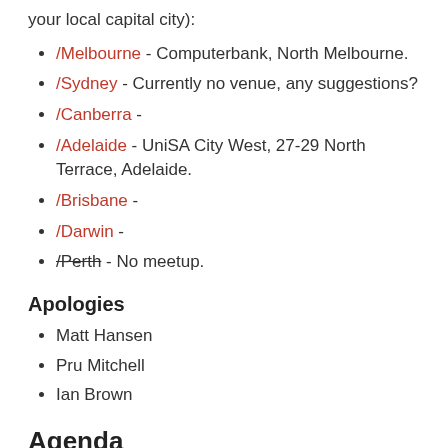your local capital city):
/Melbourne - Computerbank, North Melbourne.
/Sydney - Currently no venue, any suggestions?
/Canberra -
/Adelaide - UniSA City West, 27-29 North Terrace, Adelaide.
/Brisbane -
/Darwin -
/Perth - No meetup.
Apologies
Matt Hansen
Pru Mitchell
Ian Brown
Agenda
1. Apologies, attendance (connect with returning